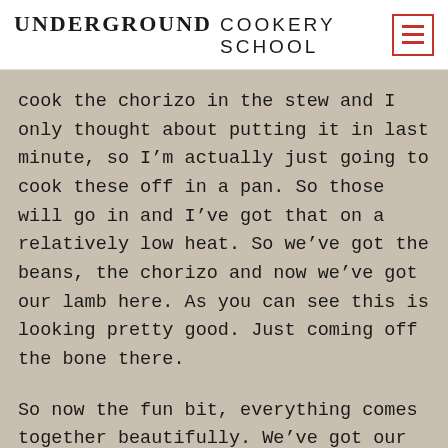UNDERGROUND COOKERY SCHOOL
cook the chorizo in the stew and I only thought about putting it in last minute, so I’m actually just going to cook these off in a pan. So those will go in and I’ve got that on a relatively low heat. So we’ve got the beans, the chorizo and now we’ve got our lamb here. As you can see this is looking pretty good. Just coming off the bone there.
So now the fun bit, everything comes together beautifully. We’ve got our baked beans here. I’m very happy with the...